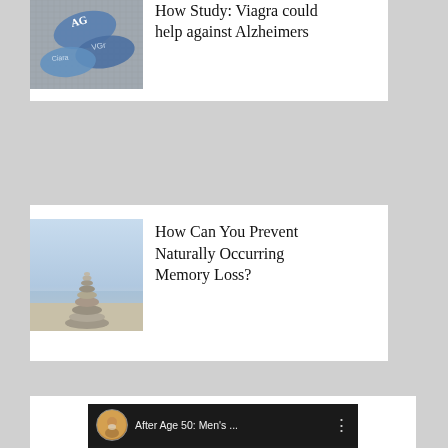[Figure (photo): Blue pills/tablets arranged on a surface, partially visible at top of card]
How Study: Viagra could help against Alzheimers
[Figure (photo): Stack of balanced stones/pebbles on a sandy surface with water and sky in background]
How Can You Prevent Naturally Occurring Memory Loss?
[Figure (screenshot): YouTube video thumbnail showing a man's avatar, title 'After Age 50: Men's ...', with text MEN and testosterone visible on dark background with a stick figure]